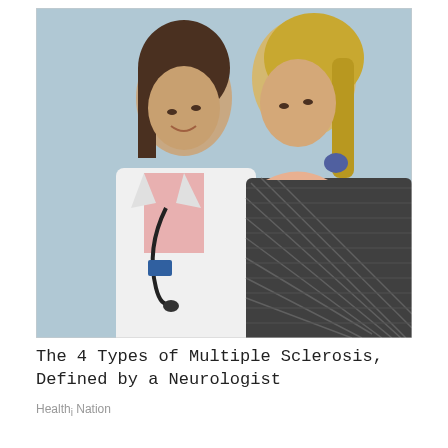[Figure (photo): A female doctor in a white coat with a stethoscope leaning in and speaking to a blonde female patient who is listening attentively. Light blue background.]
The 4 Types of Multiple Sclerosis, Defined by a Neurologist
Health Nation